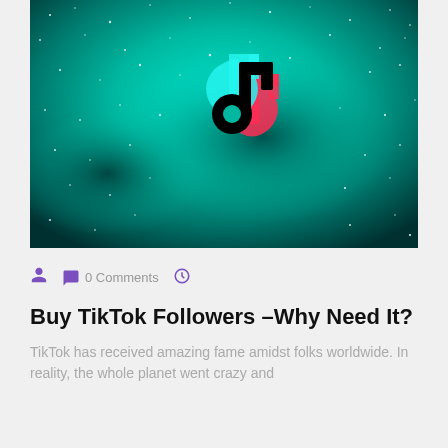[Figure (illustration): TikTok logo centered on a teal/cyan galaxy starfield background image. The TikTok musical note logo is shown in black with cyan and pink/red offset shadow effects.]
0 Comments
Buy TikTok Followers –Why Need It?
TikTok has received amazing fame amidst folks worldwide. In reality, the whole planet went crazy and